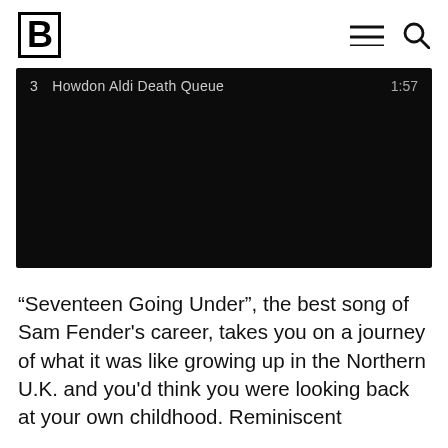B
[Figure (screenshot): Dark video player showing track 3 'Howdon Aldi Death Queue' with timestamp 1:57]
“Seventeen Going Under”, the best song of Sam Fender's career, takes you on a journey of what it was like growing up in the Northern U.K. and you'd think you were looking back at your own childhood. Reminiscent